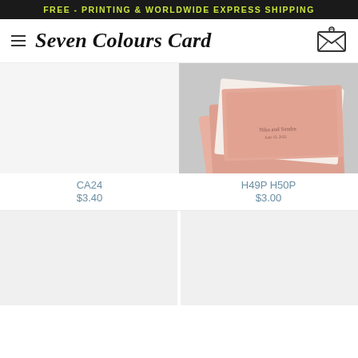FREE - PRINTING & WORLDWIDE EXPRESS SHIPPING
Seven Colours Card
CA24
$3.40
[Figure (photo): Pink textured greeting cards and envelope on grey background]
H49P H50P
$3.00
[Figure (photo): Product image placeholder bottom left]
[Figure (photo): Product image placeholder bottom right]